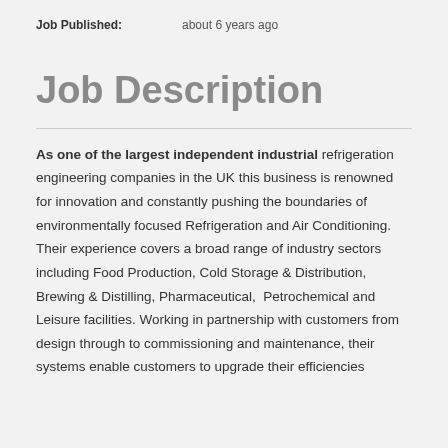Job Published: about 6 years ago
Job Description
As one of the largest independent industrial refrigeration engineering companies in the UK this business is renowned for innovation and constantly pushing the boundaries of environmentally focused Refrigeration and Air Conditioning. Their experience covers a broad range of industry sectors including Food Production, Cold Storage & Distribution, Brewing & Distilling, Pharmaceutical, Petrochemical and Leisure facilities. Working in partnership with customers from design through to commissioning and maintenance, their systems enable customers to upgrade their efficiencies